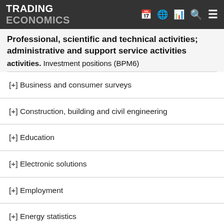TRADING ECONOMICS
Professional, scientific and technical activities; administrative and support service activities
Investment positions (BPM6)
[+] Business and consumer surveys
[+] Construction, building and civil engineering
[+] Education
[+] Electronic solutions
[+] Employment
[+] Energy statistics
[+] Final consumption expenditure of households and NPISH